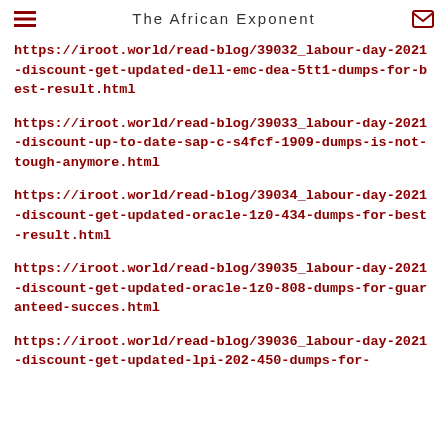The African Exponent
https://iroot.world/read-blog/39032_labour-day-2021-discount-get-updated-dell-emc-dea-5tt1-dumps-for-best-result.html
https://iroot.world/read-blog/39033_labour-day-2021-discount-up-to-date-sap-c-s4fcf-1909-dumps-is-not-tough-anymore.html
https://iroot.world/read-blog/39034_labour-day-2021-discount-get-updated-oracle-1z0-434-dumps-for-best-result.html
https://iroot.world/read-blog/39035_labour-day-2021-discount-get-updated-oracle-1z0-808-dumps-for-guaranteed-succes.html
https://iroot.world/read-blog/39036_labour-day-2021-discount-get-updated-lpi-202-450-dumps-for-